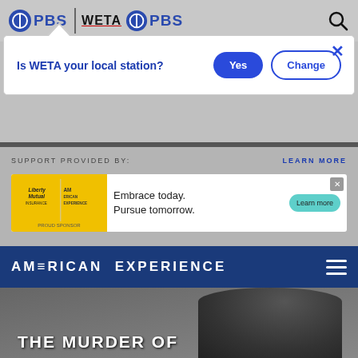[Figure (screenshot): PBS and WETA PBS logos in navigation bar with search icon]
[Figure (screenshot): Popup dialog asking 'Is WETA your local station?' with Yes and Change buttons and close X]
SUPPORT PROVIDED BY:
LEARN MORE
[Figure (screenshot): Liberty Mutual and American Experience advertisement banner with 'Embrace today. Pursue tomorrow.' text and Learn more button]
AMERICAN EXPERIENCE
THE MURDER OF